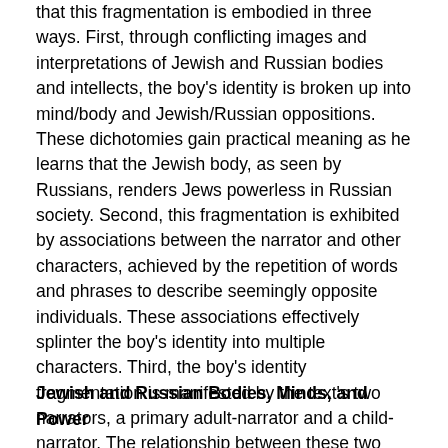that this fragmentation is embodied in three ways. First, through conflicting images and interpretations of Jewish and Russian bodies and intellects, the boy's identity is broken up into mind/body and Jewish/Russian oppositions. These dichotomies gain practical meaning as he learns that the Jewish body, as seen by Russians, renders Jews powerless in Russian society. Second, this fragmentation is exhibited by associations between the narrator and other characters, achieved by the repetition of words and phrases to describe seemingly opposite individuals. These associations effectively splinter the boy's identity into multiple characters. Third, the boy's identity fragmentation is manifested by the text's two narrators, a primary adult-narrator and a child-narrator. The relationship between these two narrators adds another layer of fragmentation to the text, as the primary narrator both separates himself from and identifies with the child-narrator.
Jewish and Russian Bodies, Minds, and Power